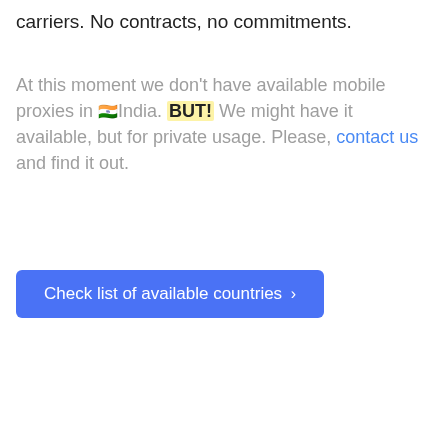carriers. No contracts, no commitments.
At this moment we don't have available mobile proxies in 🇮🇳India. BUT! We might have it available, but for private usage. Please, contact us and find it out.
Check list of available countries ›